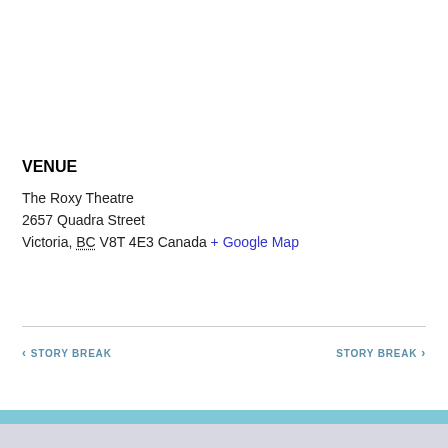VENUE
The Roxy Theatre
2657 Quadra Street
Victoria, BC V8T 4E3 Canada + Google Map
< STORY BREAK    STORY BREAK >